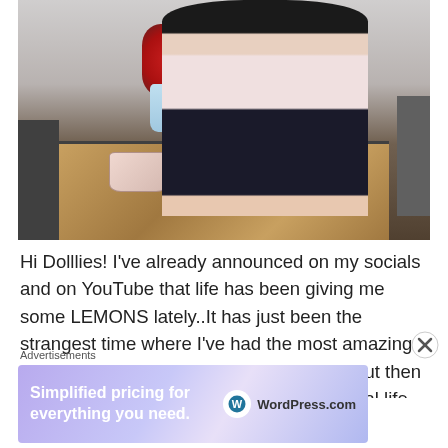[Figure (photo): A woman with long dark hair wearing a pink top and dark jeans sits on a wooden table. A vase of red roses is on the table along with a pink handbag. Two dark chairs are visible in the background.]
Hi Dolllies! I've already announced on my socials and on YouTube that life has been giving me some LEMONS lately..It has just been the strangest time where I've had the most amazing things happening in my professional life, but then some nightmares happening in my personal life. I've
Advertisements
[Figure (screenshot): WordPress.com advertisement banner: 'Simplified pricing for everything you need.' with WordPress.com logo on a purple/lavender gradient background.]